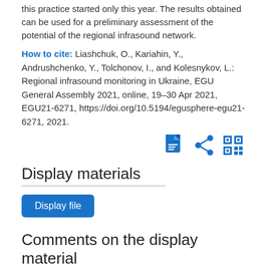this practice started only this year. The results obtained can be used for a preliminary assessment of the potential of the regional infrasound network.
How to cite: Liashchuk, O., Kariahin, Y., Andrushchenko, Y., Tolchonov, I., and Kolesnykov, L.: Regional infrasound monitoring in Ukraine, EGU General Assembly 2021, online, 19–30 Apr 2021, EGU21-6271, https://doi.org/10.5194/egusphere-egu21-6271, 2021.
[Figure (other): Three icon buttons: PDF document icon, share icon, and QR code icon, all in blue]
Display materials
Display file
Comments on the display material
Login to access the discussion